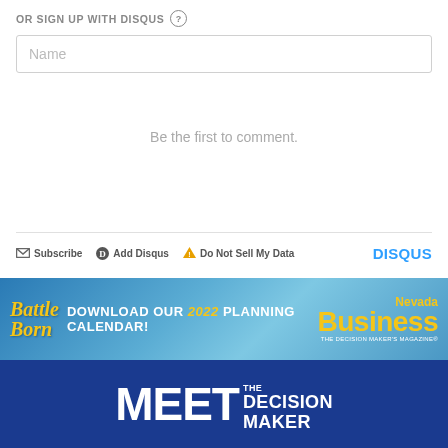OR SIGN UP WITH DISQUS ?
Name
Be the first to comment.
Subscribe  Add Disqus  Do Not Sell My Data  DISQUS
[Figure (illustration): Battle Born Nevada Business banner ad: Download our 2022 Planning Calendar]
[Figure (illustration): Meet the Decision Maker banner in dark blue]